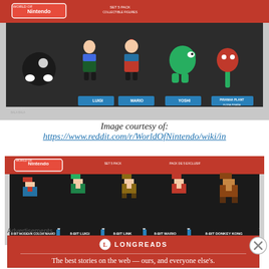[Figure (photo): World of Nintendo 5-pack collectible figures in retail packaging showing Bullet Ball, Luigi, Mario, Yoshi, and Piranha Plant figures]
Image courtesy of:
https://www.reddit.com/r/WorldOfNintendo/wiki/in
[Figure (photo): World of Nintendo 8-bit 5-pack collectible figures in retail packaging showing 8-Bit Modern Color Mario, 8-Bit Luigi, 8-Bit Link, 8-Bit Mario, and 8-Bit Donkey Kong figures]
Image courtesy of:
https://www.reddit.com/r/WorldOfNintendo/wiki/in
Advertisements
[Figure (infographic): Longreads advertisement: The best stories on the web — ours, and everyone else's.]